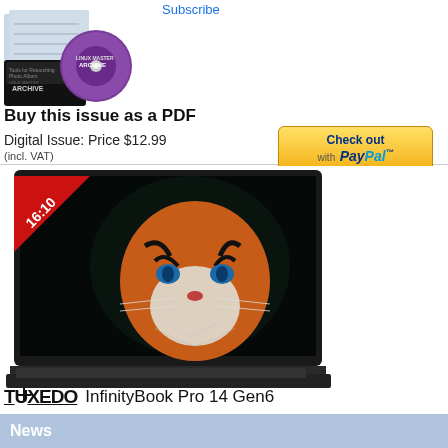Subscribe
[Figure (photo): CD/DVD archive disc with magazine and blueprints image]
Buy this issue as a PDF
Digital Issue: Price $12.99
(incl. VAT)
[Figure (logo): PayPal Check out button - The safer, easier way to pay]
[Figure (photo): TUXEDO InfinityBook Pro 14 Gen6 laptop with tiger wallpaper on screen showing 16:10 aspect ratio badge]
TUXEDO  InfinityBook Pro 14 Gen6
News